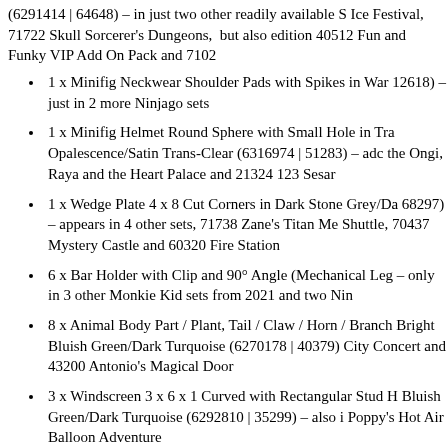(6291414 | 64648) – in just two other readily available sets Ice Festival, 71722 Skull Sorcerer's Dungeons, but also edition 40512 Fun and Funky VIP Add On Pack and 7102
1 x Minifig Neckwear Shoulder Pads with Spikes in War 12618) – just in 2 more Ninjago sets
1 x Minifig Helmet Round Sphere with Small Hole in Tra Opalescence/Satin Trans-Clear (6316974 | 51283) – ado the Ongi, Raya and the Heart Palace and 21324 123 Sesa
1 x Wedge Plate 4 x 8 Cut Corners in Dark Stone Grey/Da 68297) – appears in 4 other sets, 71738 Zane's Titan Me Shuttle, 70437 Mystery Castle and 60320 Fire Station
6 x Bar Holder with Clip and 90° Angle (Mechanical Leg – only in 3 other Monkie Kid sets from 2021 and two Nin
8 x Animal Body Part / Plant, Tail / Claw / Horn / Branch Bright Bluish Green/Dark Turquoise (6270178 | 40379) City Concert and 43200 Antonio's Magical Door
3 x Windscreen 3 x 6 x 1 Curved with Rectangular Stud H Bluish Green/Dark Turquoise (6292810 | 35299) – also i Poppy's Hot Air Balloon Adventure
6 x Brick Curved, Internal, 1 x 3 x 3 with 1/3 Inverted Cu 73682) – just in 80024 The Legendary Flower Fruit Mou Arachnoid Base, 80021 Monkie Kid's Lion Guardian and